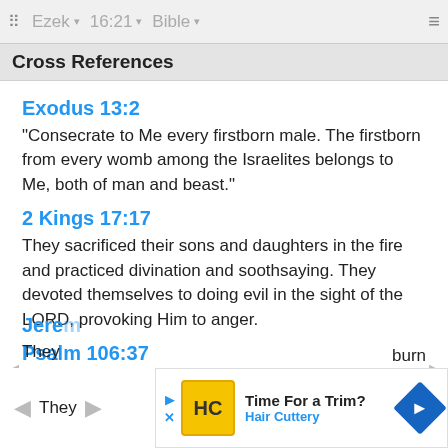Ezek  16:21  Bible
Cross References
Exodus 13:2
"Consecrate to Me every firstborn male. The firstborn from every womb among the Israelites belongs to Me, both of man and beast."
2 Kings 17:17
They sacrificed their sons and daughters in the fire and practiced divination and soothsaying. They devoted themselves to doing evil in the sight of the LORD, provoking Him to anger.
Psalm 106:37
They sacrificed their sons and their daughters to demons.
Jere...
They ... burn
[Figure (screenshot): Advertisement banner: Time For a Trim? Hair Cuttery, with logo and navigation arrow icon]